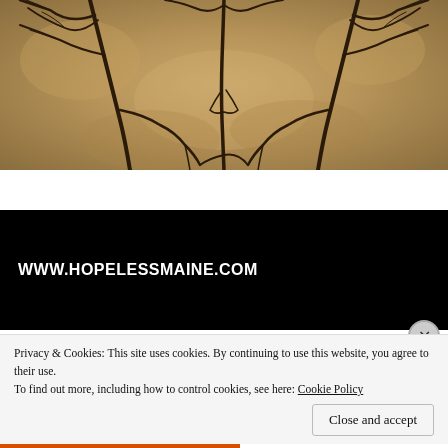[Figure (illustration): Symmetrical mirrored artwork showing dark bare tree branches against a sandy/golden textured background, creating a face-like appearance. The image has a warm tan/beige tone with dark branching lines.]
WWW.HOPELESSMAINE.COM
Privacy & Cookies: This site uses cookies. By continuing to use this website, you agree to their use.
To find out more, including how to control cookies, see here: Cookie Policy
Close and accept